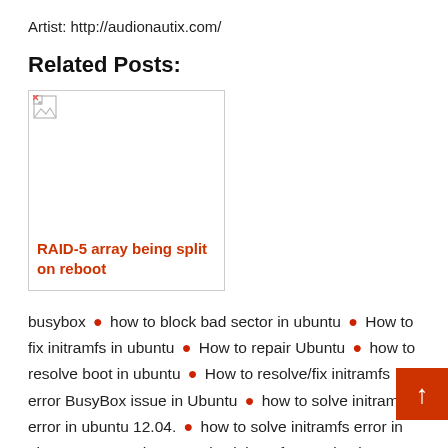Artist: http://audionautix.com/
Related Posts:
[Figure (other): Broken image placeholder thumbnail for related post card]
RAID-5 array being split on reboot
busybox • how to block bad sector in ubuntu • How to fix initramfs in ubuntu • How to repair Ubuntu • how to resolve boot in ubuntu • How to resolve/fix initramfs error BusyBox issue in Ubuntu • how to solve initramfs error in ubuntu 12.04. • how to solve initramfs error in ubuntu 14.04 • how to solve initramfs error in ubuntu 17.04 17.10 16.04 • initfsram busybox error on boot • initramfs • initramfs error in ubuntu • initramfs v 1.22.1